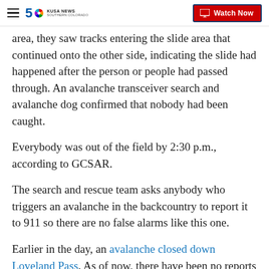KUSA NEWS 5 Southern Colorado | Watch Now
area, they saw tracks entering the slide area that continued onto the other side, indicating the slide had happened after the person or people had passed through. An avalanche transceiver search and avalanche dog confirmed that nobody had been caught.
Everybody was out of the field by 2:30 p.m., according to GCSAR.
The search and rescue team asks anybody who triggers an avalanche in the backcountry to report it to 911 so there are no false alarms like this one.
Earlier in the day, an avalanche closed down Loveland Pass. As of now, there have been no reports of injuries